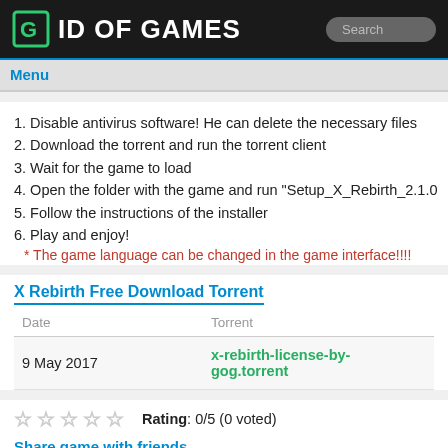ID OF GAMES
Menu
1. Disable antivirus software! He can delete the necessary files
2. Download the torrent and run the torrent client
3. Wait for the game to load
4. Open the folder with the game and run "Setup_X_Rebirth_2.1.0
5. Follow the instructions of the installer
6. Play and enjoy!
* The game language can be changed in the game interface!!!
X Rebirth Free Download Torrent
| Date | Torrent |
| --- | --- |
| 9 May 2017 | x-rebirth-license-by-gog.torrent |
Rating: 0/5 (0 voted)
Share game with friends